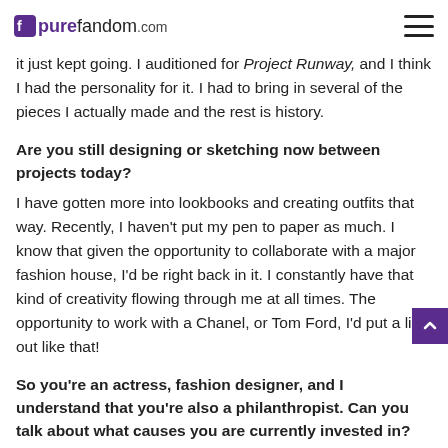purefandom.com
it just kept going. I auditioned for Project Runway, and I think I had the personality for it. I had to bring in several of the pieces I actually made and the rest is history.
Are you still designing or sketching now between projects today?
I have gotten more into lookbooks and creating outfits that way. Recently, I haven't put my pen to paper as much. I know that given the opportunity to collaborate with a major fashion house, I'd be right back in it. I constantly have that kind of creativity flowing through me at all times. The opportunity to work with a Chanel, or Tom Ford, I'd put a line out like that!
So you're an actress, fashion designer, and I understand that you're also a philanthropist. Can you talk about what causes you are currently invested in? What brings them